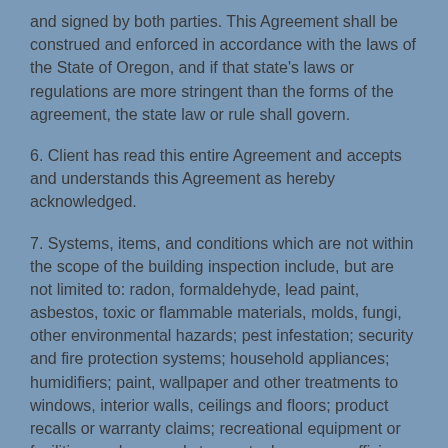and signed by both parties. This Agreement shall be construed and enforced in accordance with the laws of the State of Oregon, and if that state's laws or regulations are more stringent than the forms of the agreement, the state law or rule shall govern.
6. Client has read this entire Agreement and accepts and understands this Agreement as hereby acknowledged.
7. Systems, items, and conditions which are not within the scope of the building inspection include, but are not limited to: radon, formaldehyde, lead paint, asbestos, toxic or flammable materials, molds, fungi, other environmental hazards; pest infestation; security and fire protection systems; household appliances; humidifiers; paint, wallpaper and other treatments to windows, interior walls, ceilings and floors; product recalls or warranty claims; recreational equipment or facilities; underground storage tanks; energy efficiency measurements; concealed or private secured systems; water wells; heating systems accessories; solar heating systems; sprinkling systems; water softener; central vacuum systems, telephone, intercom or cable TV systems; antennae, lightning arresters, trees or plants; governing codes, ordinances, statutes and covenants and manufacturer specifications. Client